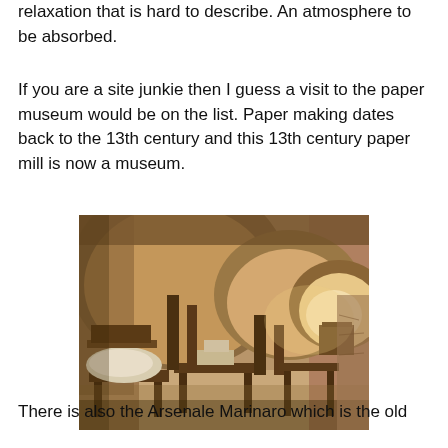relaxation that is hard to describe. An atmosphere to be absorbed.
If you are a site junkie then I guess a visit to the paper museum would be on the list. Paper making dates back to the 13th century and this 13th century paper mill is now a museum.
[Figure (photo): Interior of a 13th century paper mill museum, showing stone arched ceilings, wooden workbenches and equipment, with warm golden lighting illuminating the historic space.]
There is also the Arsenale Marinaro which is the old shipyard and we hope to get there on our last day. It all